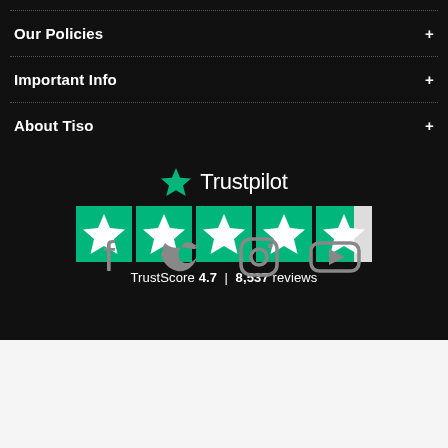Our Policies
Important Info
About Tiso
[Figure (logo): Trustpilot logo with green star and text, followed by 5 green star rating boxes (4.7 score), and TrustScore 4.7 | 8,537 reviews]
TrustScore 4.7 | 8,537 reviews
[Figure (infographic): Social media icons: Facebook, Twitter, Instagram, YouTube]